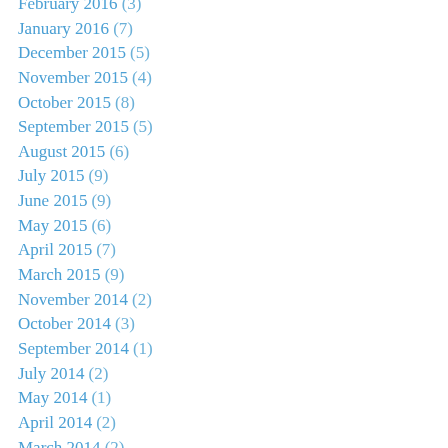February 2016 (3)
January 2016 (7)
December 2015 (5)
November 2015 (4)
October 2015 (8)
September 2015 (5)
August 2015 (6)
July 2015 (9)
June 2015 (9)
May 2015 (6)
April 2015 (7)
March 2015 (9)
November 2014 (2)
October 2014 (3)
September 2014 (1)
July 2014 (2)
May 2014 (1)
April 2014 (2)
March 2014 (2)
February 2014 (5)